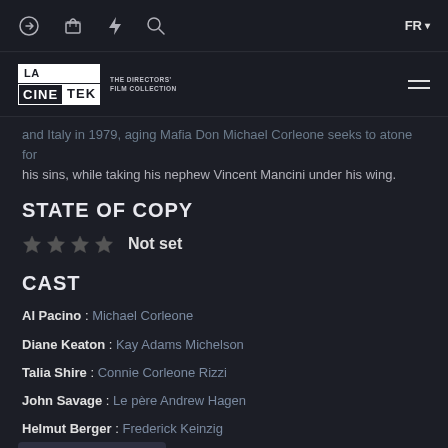Navigation bar with icons and FR language selector
[Figure (logo): LA CINETEK - THE DIRECTORS' FILM COLLECTION logo]
and Italy in 1979, aging Mafia Don Michael Corleone seeks to atone for his sins, while taking his nephew Vincent Mancini under his wing.
STATE OF COPY
★★★★ Not set
CAST
Al Pacino : Michael Corleone
Diane Keaton : Kay Adams Michelson
Talia Shire : Connie Corleone Rizzi
John Savage : Le père Andrew Hagen
Helmut Berger : Frederick Keinzig
: Grace Hamilton
Eli Wallach : Don Altobello